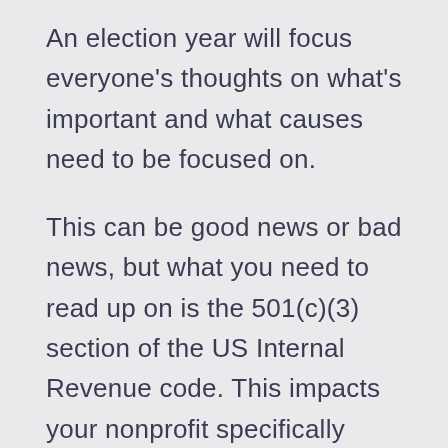An election year will focus everyone's thoughts on what's important and what causes need to be focused on.
This can be good news or bad news, but what you need to read up on is the 501(c)(3) section of the US Internal Revenue code. This impacts your nonprofit specifically because it changes your organization's tax exemption.
Nonprofits that are receiving any kind of public funding are really at a halt on election years. It can be a stressful time, and you need